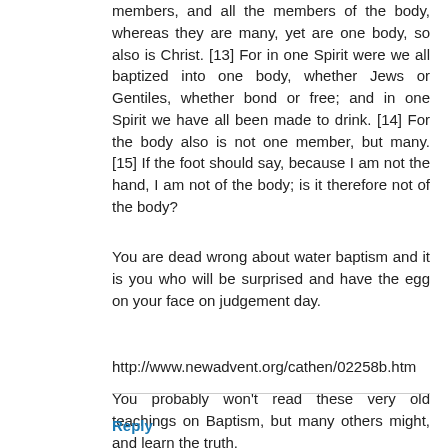members, and all the members of the body, whereas they are many, yet are one body, so also is Christ. [13] For in one Spirit were we all baptized into one body, whether Jews or Gentiles, whether bond or free; and in one Spirit we have all been made to drink. [14] For the body also is not one member, but many. [15] If the foot should say, because I am not the hand, I am not of the body; is it therefore not of the body?
You are dead wrong about water baptism and it is you who will be surprised and have the egg on your face on judgement day.
http://www.newadvent.org/cathen/02258b.htm
You probably won't read these very old teachings on Baptism, but many others might, and learn the truth.
Reply